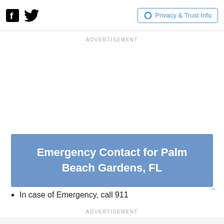Facebook icon, Twitter icon, Privacy & Trust Info
ADVERTISEMENT
Emergency Contact for Palm Beach Gardens, FL
In case of Emergency, call 911
ADVERTISEMENT